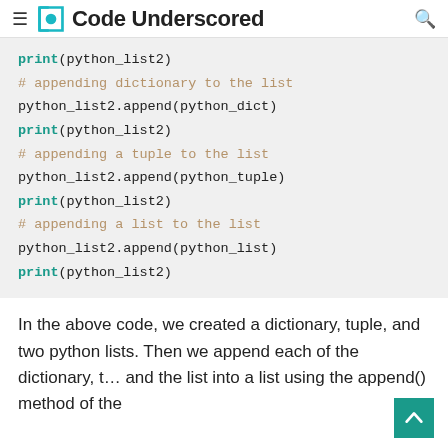Code Underscored
[Figure (screenshot): Code block showing Python list append operations with dictionary, tuple, and list]
In the above code, we created a dictionary, tuple, and two python lists. Then we append each of the dictionary, t… and the list into a list using the append() method of the